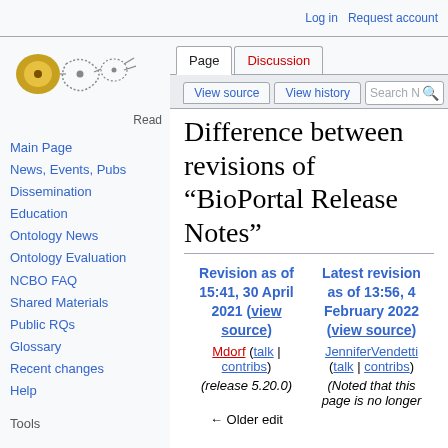Log in  Request account
[Figure (logo): NCBO BioPortal wiki logo with cell-like shapes]
Read
Page  Discussion
View source  View history  Search No
Difference between revisions of "BioPortal Release Notes"
Main Page
News, Events, Pubs
Dissemination
Education
Ontology News
Ontology Evaluation
NCBO FAQ
Shared Materials
Public RQs
Glossary
Recent changes
Help
Tools
| Revision as of 15:41, 30 April 2021 (view source) | Latest revision as of 13:56, 4 February 2022 (view source) |
| --- | --- |
| Mdorf (talk | contribs) | JenniferVendetti (talk | contribs) |
| (release 5.20.0) | (Noted that this page is no longer |
| ← Older edit |  |